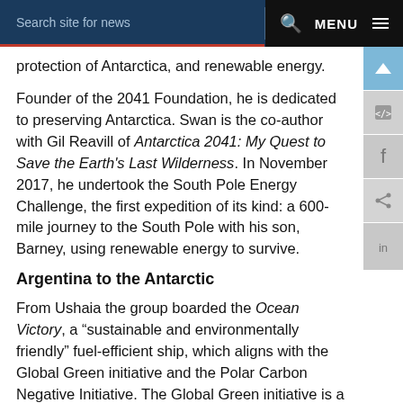Search site for news  MENU
protection of Antarctica, and renewable energy.
Founder of the 2041 Foundation, he is dedicated to preserving Antarctica. Swan is the co-author with Gil Reavill of Antarctica 2041: My Quest to Save the Earth's Last Wilderness. In November 2017, he undertook the South Pole Energy Challenge, the first expedition of its kind: a 600-mile journey to the South Pole with his son, Barney, using renewable energy to survive.
Argentina to the Antarctic
From Ushaia the group boarded the Ocean Victory, a “sustainable and environmentally friendly” fuel-efficient ship, which aligns with the Global Green initiative and the Polar Carbon Negative Initiative. The Global Green initiative is a reforestation programme to offset greenhouse gases emitted by human activities. The